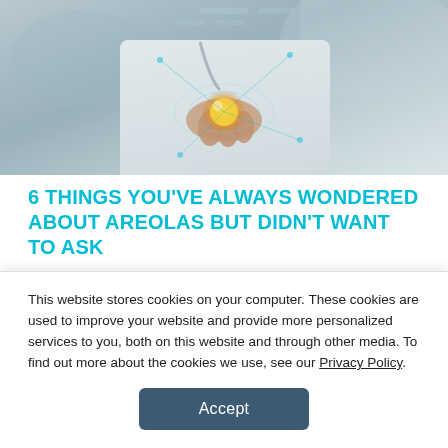[Figure (photo): Doctor in white coat holding a glowing object in their hand, with digital network graphics overlaid, medical technology theme]
6 THINGS YOU'VE ALWAYS WONDERED ABOUT AREOLAS BUT DIDN'T WANT TO ASK
by Debbie Overman | Jul 8, 2020 | Aesthetics, Enhancements, Reductions | 0 [comment icon]
What does a normal areola look like, and does size
This website stores cookies on your computer. These cookies are used to improve your website and provide more personalized services to you, both on this website and through other media. To find out more about the cookies we use, see our Privacy Policy.
Accept